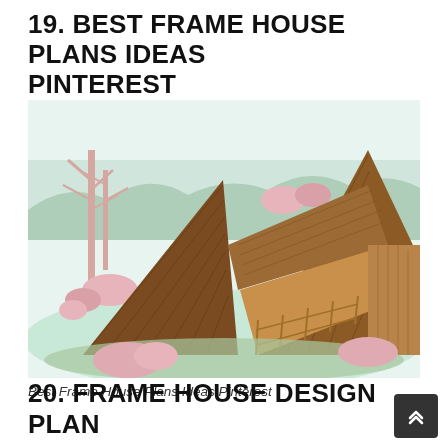19. BEST FRAME HOUSE PLANS IDEAS PINTEREST
[Figure (illustration): Colored architectural illustration of an A-frame house design with wood siding, triangular roof forms, a deck, surrounded by trees and pink flowering shrubs on a light green landscape background.]
Best Frame House Plans Ideas Pinterest
20. FRAME HOUSE DESIGN PLAN